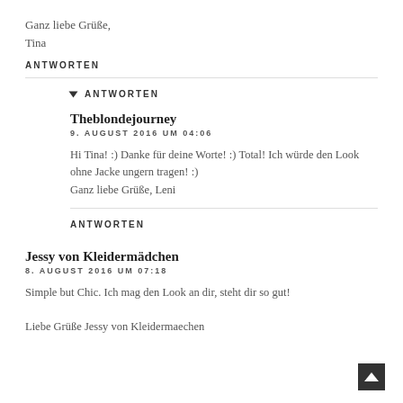Ganz liebe Grüße,
Tina
ANTWORTEN
▼ ANTWORTEN
Theblondejourney
9. AUGUST 2016 UM 04:06
Hi Tina! :) Danke für deine Worte! :) Total! Ich würde den Look ohne Jacke ungern tragen! :)
Ganz liebe Grüße, Leni
ANTWORTEN
Jessy von Kleidermädchen
8. AUGUST 2016 UM 07:18
Simple but Chic. Ich mag den Look an dir, steht dir so gut!
Liebe Grüße Jessy von Kleidermaechen